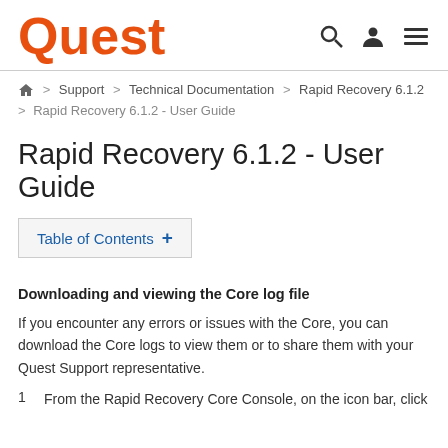Quest
Home > Support > Technical Documentation > Rapid Recovery 6.1.2 > Rapid Recovery 6.1.2 - User Guide
Rapid Recovery 6.1.2 - User Guide
Table of Contents +
Downloading and viewing the Core log file
If you encounter any errors or issues with the Core, you can download the Core logs to view them or to share them with your Quest Support representative.
1. From the Rapid Recovery Core Console, on the icon bar, click